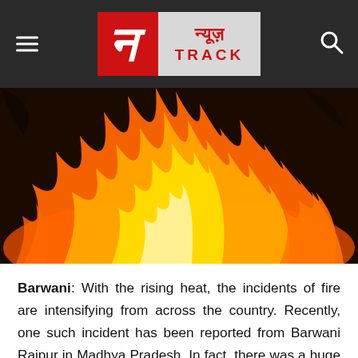[Figure (logo): News Track logo with Hindi text न्यूज़ and TRACK on grey/red background, navigation bar with hamburger menu and search icon]
[Figure (photo): Large fire with bright orange and yellow flames against a dark background]
Barwani: With the rising heat, the incidents of fire are intensifying from across the country. Recently, one such incident has been reported from Barwani Rajpur in Madhya Pradesh. In fact, there was a huge fire in a two-storey cloth shop at the textile market here. It is